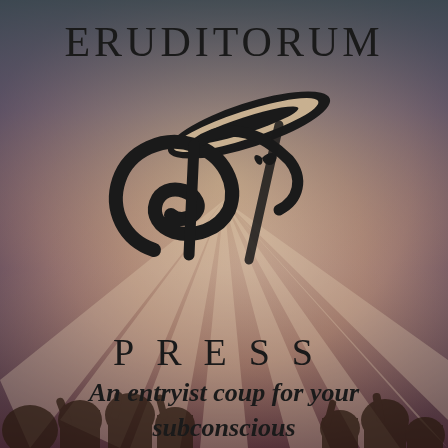[Figure (logo): Eruditorum Press logo page with stylized EP monogram logo on a warm-toned background with silhouetted figures at the bottom and radiating light rays]
ERUDITORUM
PRESS
An entryist coup for your subconscious